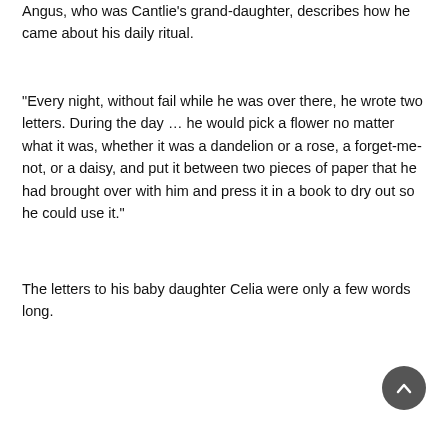Angus, who was Cantlie's grand-daughter, describes how he came about his daily ritual.
“Every night, without fail while he was over there, he wrote two letters. During the day … he would pick a flower no matter what it was, whether it was a dandelion or a rose, a forget-me-not, or a daisy, and put it between two pieces of paper that he had brought over with him and press it in a book to dry out so he could use it.”
The letters to his baby daughter Celia were only a few words long.
[Figure (other): Scroll-to-top button: dark grey circle with white upward chevron arrow]